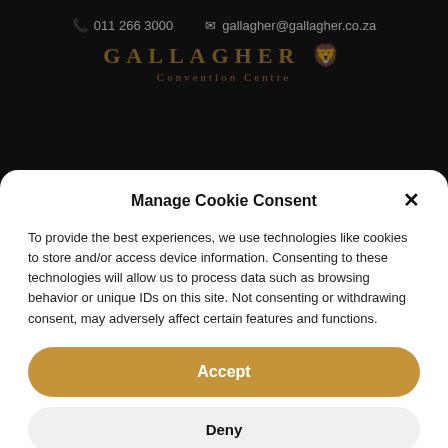011 266 3000   gallagher@gallagher.co.za
GALLAGHER
Convention Centre
Dates: 21-23 June 2023
Manage Cookie Consent
To provide the best experiences, we use technologies like cookies to store and/or access device information. Consenting to these technologies will allow us to process data such as browsing behavior or unique IDs on this site. Not consenting or withdrawing consent, may adversely affect certain features and functions.
Accept
Deny
View preferences
Cookie Policy   Privacy Statement